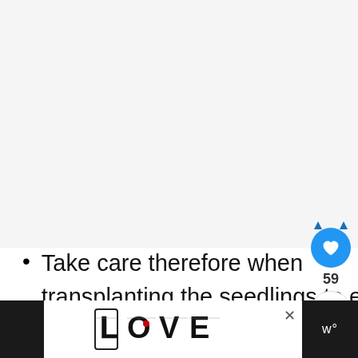[Figure (other): Large blank/white area at top of page, placeholder for image content above the fold]
Take care therefore when transplanting the seedlings to ensu that the roots are not...
[Figure (screenshot): Bottom advertisement bar showing a decorative 'LOVE' logo artwork in black and white with a small red heart detail, with close (X) button, black panels on left and right sides, and a 'w°' logo on the right black panel. A blue circular heart/favorite button with count '59' and a share button appear on the right sidebar.]